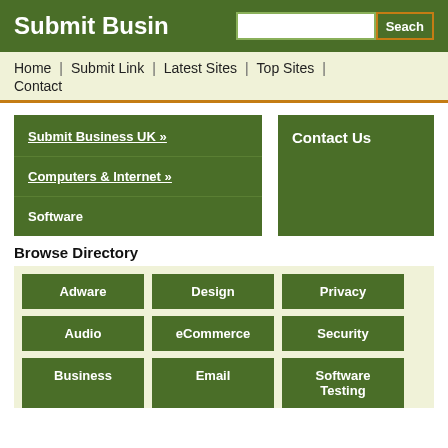Submit Business UK
Home | Submit Link | Latest Sites | Top Sites | Contact
Submit Business UK »
Computers & Internet »
Software
Contact Us
Browse Directory
Adware
Design
Privacy
Audio
eCommerce
Security
Business
Email
Software Testing